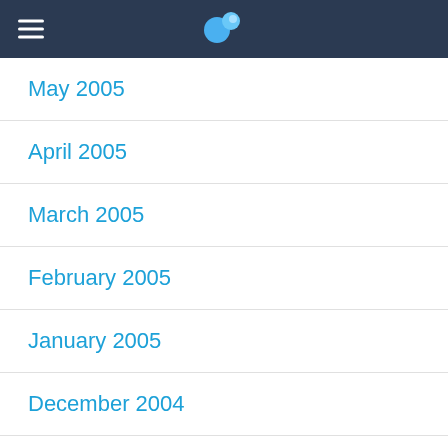May 2005
April 2005
March 2005
February 2005
January 2005
December 2004
November 2004
October 2004
September 2004